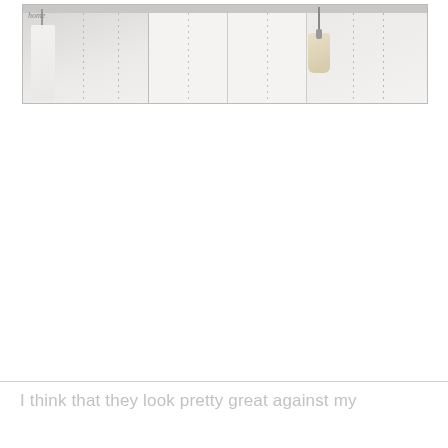[Figure (photo): Photograph of a white wardrobe/closet with multiple panel doors. Visible are hanging items including what appears to be a bag or shoes hanging from the rail on the right side. The closet has a clean, minimal white interior.]
I think that they look pretty great against my